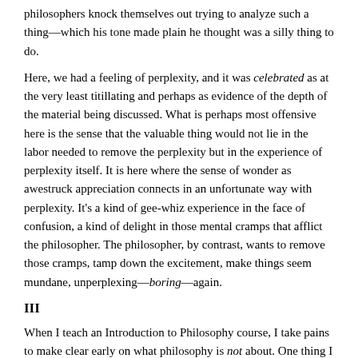philosophers knock themselves out trying to analyze such a thing—which his tone made plain he thought was a silly thing to do.
Here, we had a feeling of perplexity, and it was celebrated as at the very least titillating and perhaps as evidence of the depth of the material being discussed. What is perhaps most offensive here is the sense that the valuable thing would not lie in the labor needed to remove the perplexity but in the experience of perplexity itself. It is here where the sense of wonder as awestruck appreciation connects in an unfortunate way with perplexity. It’s a kind of gee-whiz experience in the face of confusion, a kind of delight in those mental cramps that afflict the philosopher. The philosopher, by contrast, wants to remove those cramps, tamp down the excitement, make things seem mundane, unperplexing—boring—again.
III
When I teach an Introduction to Philosophy course, I take pains to make clear early on what philosophy is not about. One thing I do is make use of some all-too-familiar koans. We all know these two. First, there is the question “What is the sound of one hand clapping?” Second, we have one closer to a real philosophical question: “If a tree falls in the forest, but nobody is around, does it make a sound?”